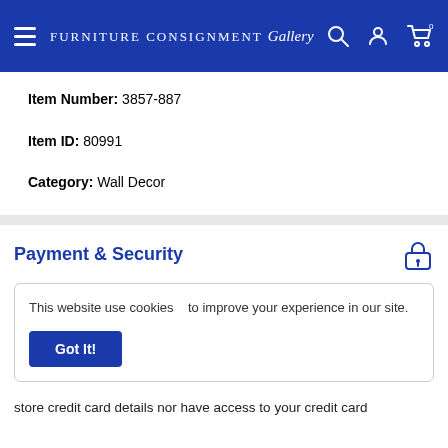Furniture Consignment Gallery
Item Number: 3857-887
Item ID: 80991
Category: Wall Decor
Payment & Security
This website use cookies   to improve your experience in our site.
Got It!
store credit card details nor have access to your credit card